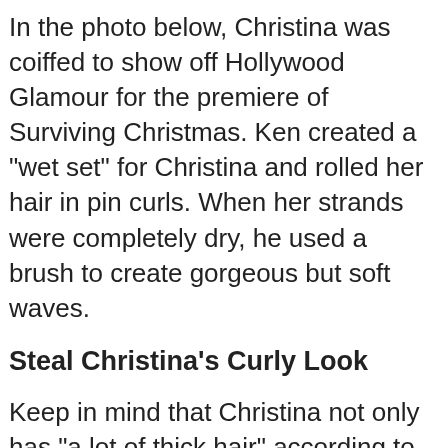In the photo below, Christina was coiffed to show off Hollywood Glamour for the premiere of Surviving Christmas. Ken created a "wet set" for Christina and rolled her hair in pin curls. When her strands were completely dry, he used a brush to create gorgeous but soft waves.
Steal Christina's Curly Look
Keep in mind that Christina not only has "a lot of thick hair" according to Ken, but she has a well-formed "natural wave" that allows her hair to hold fabulous curls and waves.